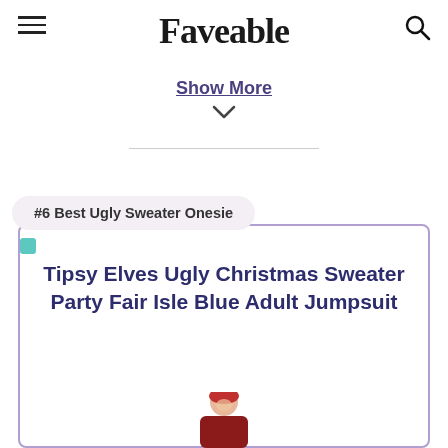Faveable
Show More
#6 Best Ugly Sweater Onesie
Tipsy Elves Ugly Christmas Sweater Party Fair Isle Blue Adult Jumpsuit
[Figure (photo): Partial photo of a woman with red hair visible at the bottom of the card]